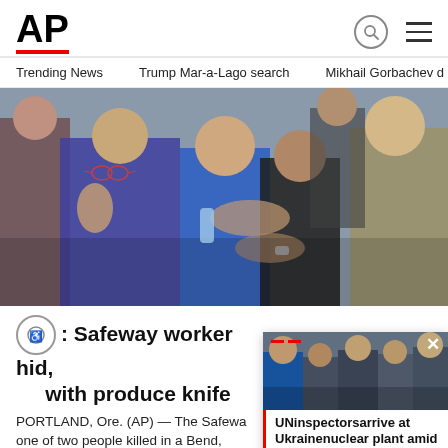AP
Trending News   Trump Mar-a-Lago search   Mikhail Gorbachev d
[Figure (photo): Crowd of people outdoors, some embracing, showing distress. Multiple individuals visible including women and men in casual clothing.]
: Safeway worker hid, [fought back] with produce knife
PORTLAND, Ore. (AP) — The Safewa[y worker was] one of two people killed in a Bend, Ore
[Figure (photo): Small thumbnail image showing people outdoors, appears to be UN inspectors at a nuclear plant.]
UNinspectorsarrive at Ukrainenuclear plant amid fighting